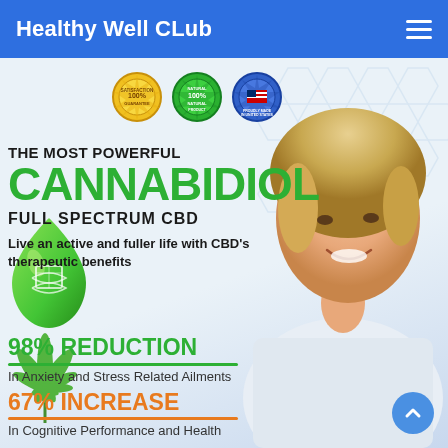Healthy Well CLub
[Figure (infographic): CBD product advertisement with badges (100% Satisfaction Guarantee, 100% Natural Product, Proudly Made in USA), large heading 'THE MOST POWERFUL CANNABIDIOL FULL SPECTRUM CBD', tagline 'Live an active and fuller life with CBD's therapeutic benefits', a green water drop with DNA/leaf graphic, a cannabis plant leaf, a smiling older woman on the right, and hexagonal pattern background. Stats: 98% Reduction in Anxiety and Stress Related Ailments; 67% Increase in Cognitive Performance and Health.]